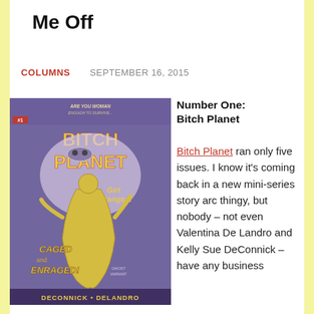Me Off
COLUMNS   SEPTEMBER 16, 2015
[Figure (illustration): Comic book cover for Bitch Planet #1 showing sci-fi retro artwork with yellow text, female figure, text reading GIRL GANGS... CAGED AND ENRAGED! GHOST VARIANT, DECONNICK + DELANDRO]
Number One: Bitch Planet
Bitch Planet ran only five issues. I know it's coming back in a new mini-series story arc thingy, but nobody – not even Valentina De Landro and Kelly Sue DeConnick – have any business